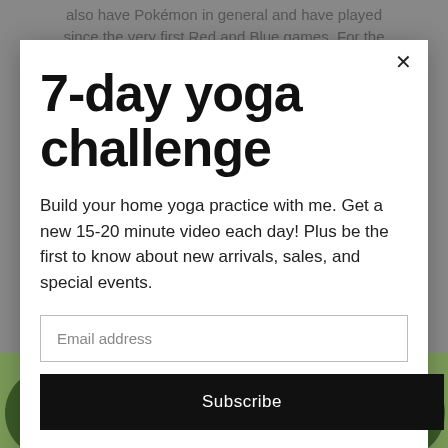also have Pokémon in general and have played since the very first Red and Blue games. For the
7-day yoga challenge
Build your home yoga practice with me. Get a new 15-20 minute video each day! Plus be the first to know about new arrivals, sales, and special events.
Email address
Subscribe
[Figure (photo): Background photo of a person in a forest/outdoor setting, partially visible at bottom of page]